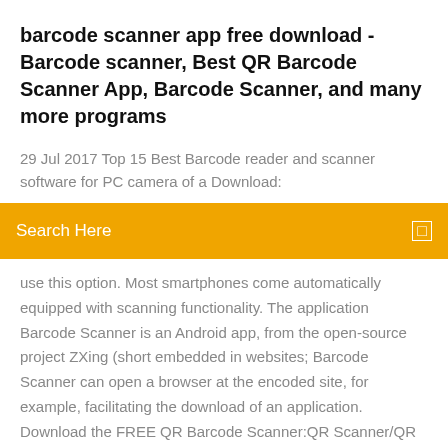barcode scanner app free download - Barcode scanner, Best QR Barcode Scanner App, Barcode Scanner, and many more programs
29 Jul 2017 Top 15 Best Barcode reader and scanner software for PC camera of a Download:
[Figure (screenshot): Orange search bar with white text 'Search Here' and a small white square icon on the right]
use this option. Most smartphones come automatically equipped with scanning functionality. The application Barcode Scanner is an Android app, from the open-source project ZXing (short embedded in websites; Barcode Scanner can open a browser at the encoded site, for example, facilitating the download of an application. Download the FREE QR Barcode Scanner:QR Scanner/QR Reader 0.125.0 at Aptoide now! ✓ Virus Super fast & safe QR scanner, bar code reader & QR code reader for Android! These reviews and ratings come from Aptoide app users. Scan barcodes on products, or Data Matrix